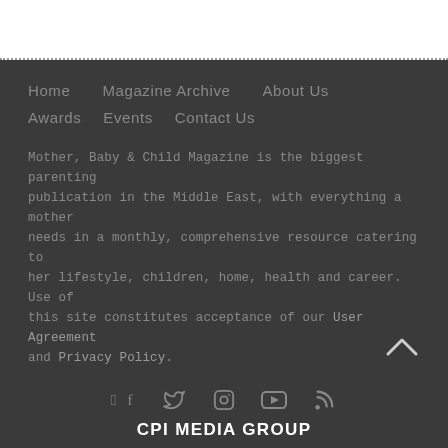Home
Magazine Archive
About Us
Awards
Events
Contact Us
Mother, Baby & Child Magazine is the biggest parenting publication in the Middle East, with everything a mother needs in a monthly, comprehensive resource catering to her lifestyle, children, home, health and career. Use of this site constitutes acceptance of our User Agreement and Privacy Policy.
[Figure (other): Social media icons: Facebook, Twitter, Instagram, YouTube, RSS feed, and a back-to-top arrow button]
CPI MEDIA GROUP